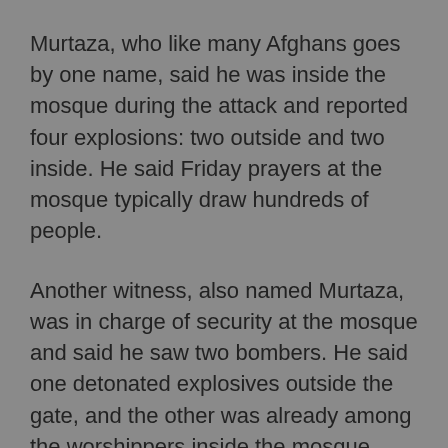Murtaza, who like many Afghans goes by one name, said he was inside the mosque during the attack and reported four explosions: two outside and two inside. He said Friday prayers at the mosque typically draw hundreds of people.
Another witness, also named Murtaza, was in charge of security at the mosque and said he saw two bombers. He said one detonated explosives outside the gate, and the other was already among the worshippers inside the mosque.
He said the mosque's security personnel shot another suspected attacker outside.